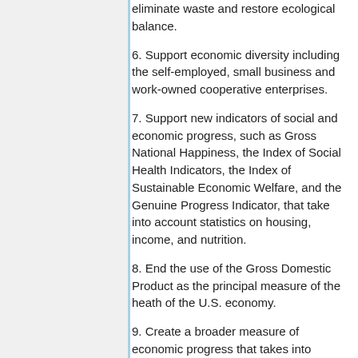eliminate waste and restore ecological balance.
6. Support economic diversity including the self-employed, small business and work-owned cooperative enterprises.
7. Support new indicators of social and economic progress, such as Gross National Happiness, the Index of Social Health Indicators, the Index of Sustainable Economic Welfare, and the Genuine Progress Indicator, that take into account statistics on housing, income, and nutrition.
8. End the use of the Gross Domestic Product as the principal measure of the heath of the U.S. economy.
9. Create a broader measure of economic progress that takes into account our quality of life, and indicators of social, environmental, civic...